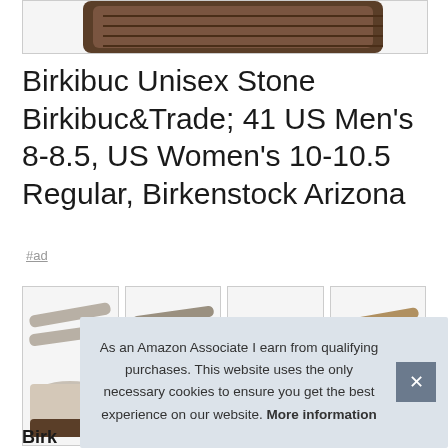[Figure (photo): Top portion of a Birkenstock sandal showing the sole/footbed bottom, cut off at top of page]
Birkibuc Unisex Stone Birkibuc&Trade; 41 US Men's 8-8.5, US Women's 10-10.5 Regular, Birkenstock Arizona
#ad
[Figure (photo): Thumbnail of Birkenstock Arizona sandal in stone/gray color, front view]
[Figure (photo): Thumbnail of Birkenstock sandal in taupe/olive color, side view]
[Figure (photo): Thumbnail of Birkenstock sandal sole/bottom view]
[Figure (photo): Thumbnail of Birkenstock sandal in metallic/brown color, angle view]
Birk
As an Amazon Associate I earn from qualifying purchases. This website uses the only necessary cookies to ensure you get the best experience on our website. More information